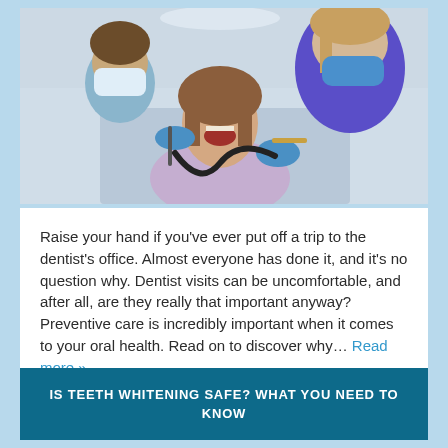[Figure (photo): Two dental professionals wearing blue gloves and surgical masks treating a female patient who is seated in a dental chair with her mouth open. One dentist uses a dental tool while the other assists.]
Raise your hand if you've ever put off a trip to the dentist's office. Almost everyone has done it, and it's no question why. Dentist visits can be uncomfortable, and after all, are they really that important anyway? Preventive care is incredibly important when it comes to your oral health. Read on to discover why… Read more »
IS TEETH WHITENING SAFE? WHAT YOU NEED TO KNOW